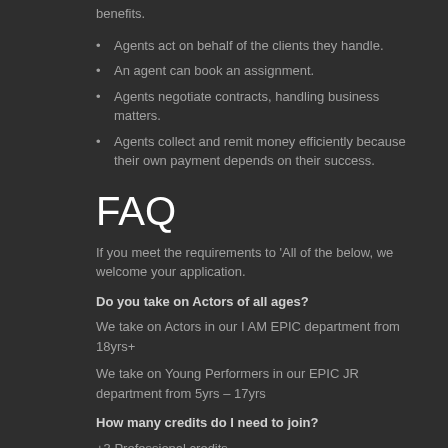benefits.
Agents act on behalf of the clients they handle.
An agent can book an assignment.
Agents negotiate contracts, handling business matters.
Agents collect and remit money efficiently because their own payment depends on their success.
FAQ
If you meet the requirements to 'All of the below, we welcome your application.
Do you take on Actors of all ages?
We take on Actors in our I AM EPIC department from 18yrs+
We take on Young Performers in our EPIC JR department from 5yrs – 17yrs
How many credits do I need to join?
+3 Professional credits.